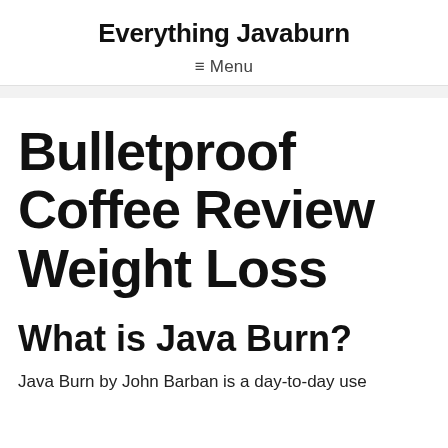Everything Javaburn
≡ Menu
Bulletproof Coffee Review Weight Loss
What is Java Burn?
Java Burn by John Barban is a day-to-day use